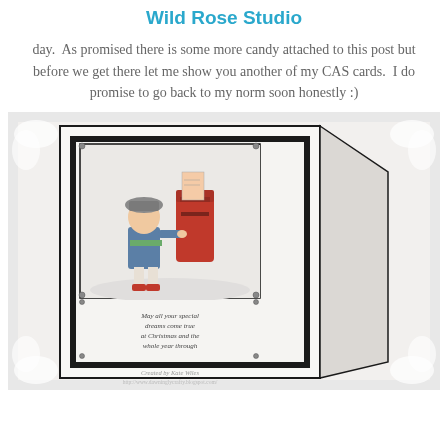Wild Rose Studio
day.  As promised there is some more candy attached to this post but before we get there let me show you another of my CAS cards.  I do promise to go back to my norm soon honestly :)
[Figure (photo): A handmade greeting card displayed in tent style, showing a child posting a letter into a red Royal Mail postbox, with Christmas sentiment text below, on a white decorative background with silver floral corners. The card is photographed at an angle revealing its easel/tent fold back. Watermark text at bottom reads 'Created by Kate Wiles' and a blog URL.]